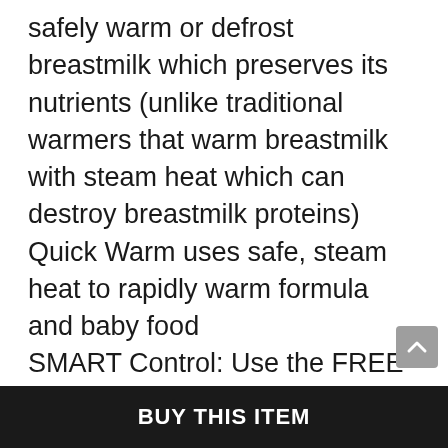safely warm or defrost breastmilk which preserves its nutrients (unlike traditional warmers that warm breastmilk with steam heat which can destroy breastmilk proteins) Quick Warm uses safe, steam heat to rapidly warm formula and baby food SMART Control: Use the FREE Baby Brezza app to operate the warmer and receive alerts when your bottle is ready on your IOS or Android mobile device using
BUY THIS ITEM